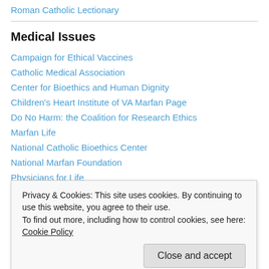Roman Catholic Lectionary
Medical Issues
Campaign for Ethical Vaccines
Catholic Medical Association
Center for Bioethics and Human Dignity
Children's Heart Institute of VA Marfan Page
Do No Harm: the Coalition for Research Ethics
Marfan Life
National Catholic Bioethics Center
National Marfan Foundation
Physicians for Life
Privacy & Cookies: This site uses cookies. By continuing to use this website, you agree to their use. To find out more, including how to control cookies, see here: Cookie Policy
Couple to Couple League International